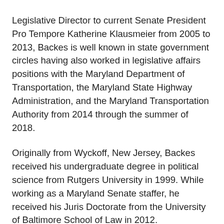Legislative Director to current Senate President Pro Tempore Katherine Klausmeier from 2005 to 2013, Backes is well known in state government circles having also worked in legislative affairs positions with the Maryland Department of Transportation, the Maryland State Highway Administration, and the Maryland Transportation Authority from 2014 through the summer of 2018.
Originally from Wyckoff, New Jersey, Backes received his undergraduate degree in political science from Rutgers University in 1999. While working as a Maryland Senate staffer, he received his Juris Doctorate from the University of Baltimore School of Law in 2012.
In August 2018, Backes moved to Round Rock, Texas with his wife Bethany and daughters Emelia and Maeve. Utilizing the expertise gained while serving in Maryland…